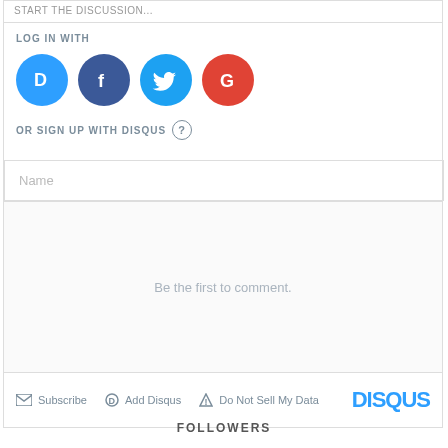START THE DISCUSSION...
LOG IN WITH
[Figure (logo): Social login icons: Disqus (blue), Facebook (dark blue), Twitter (light blue), Google (red)]
OR SIGN UP WITH DISQUS ?
Name
Be the first to comment.
Subscribe  Add Disqus  Do Not Sell My Data  DISQUS
FOLLOWERS